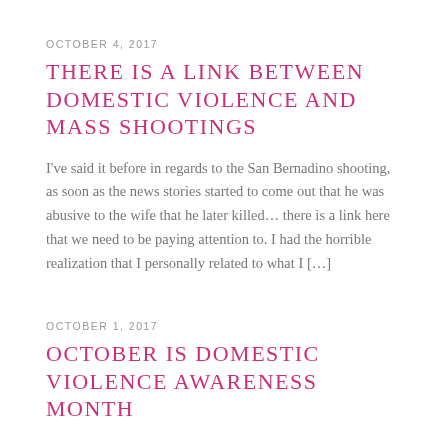OCTOBER 4, 2017
THERE IS A LINK BETWEEN DOMESTIC VIOLENCE AND MASS SHOOTINGS
I've said it before in regards to the San Bernadino shooting, as soon as the news stories started to come out that he was abusive to the wife that he later killed… there is a link here that we need to be paying attention to. I had the horrible realization that I personally related to what I […]
OCTOBER 1, 2017
OCTOBER IS DOMESTIC VIOLENCE AWARENESS MONTH